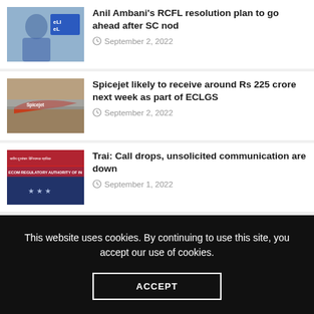Anil Ambani's RCFL resolution plan to go ahead after SC nod — September 2, 2022
Spicejet likely to receive around Rs 225 crore next week as part of ECLGS — September 2, 2022
Trai: Call drops, unsolicited communication are down — September 1, 2022
The Guardian view on a fuel poverty emergency: inaction will not do | Editorial
This website uses cookies. By continuing to use this site, you accept our use of cookies.
ACCEPT